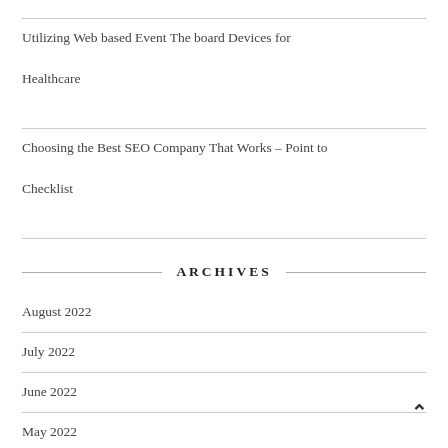Utilizing Web based Event The board Devices for Healthcare
Choosing the Best SEO Company That Works – Point to Checklist
ARCHIVES
August 2022
July 2022
June 2022
May 2022